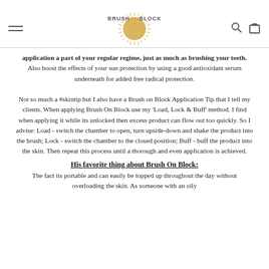BRUSH ON BLOCK
application a part of your regular regime, just as much as brushing your teeth. Also boost the effects of your sun protection by using a good antioxidant serum underneath for added free radical protection.

Not so much a #skintip but I also have a Brush on Block Application Tip that I tell my clients. When applying Brush On Block use my 'Load, Lock & Buff' method. I find when applying it while its unlocked then excess product can flow out too quickly. So I advise: Load - switch the chamber to open, turn upside-down and shake the product into the brush; Lock - switch the chamber to the closed position; Buff - buff the product into the skin. Then repeat this process until a thorough and even application is achieved.
His favorite thing about Brush On Block:
The fact its portable and can easily be topped up throughout the day without overloading the skin. As someone with an oily